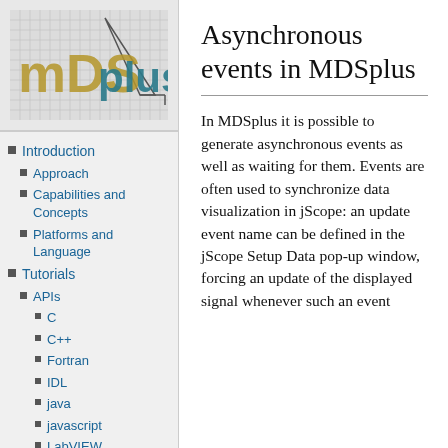[Figure (logo): MDSplus logo with golden/teal 3D letters on a grid background]
Introduction
Approach
Capabilities and Concepts
Platforms and Language
Tutorials
APIs
C
C++
Fortran
IDL
java
javascript
LabVIEW
Asynchronous events in MDSplus
In MDSplus it is possible to generate asynchronous events as well as waiting for them. Events are often used to synchronize data visualization in jScope: an update event name can be defined in the jScope Setup Data pop-up window, forcing an update of the displayed signal whenever such an event